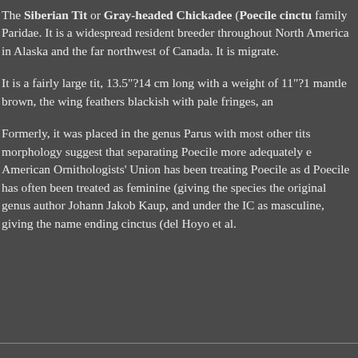The Siberian Tit or Gray-headed Chickadee (Poecile cinctu family Paridae. It is a widespread resident breeder throughout North America in Alaska and the far northwest of Canada. It is migrate.
It is a fairly large tit, 13.5"?14 cm long with a weight of 11"?1 mantle brown, the wing feathers blackish with pale fringes, an
Formerly, it was placed in the genus Parus with most other tits morphology suggest that separating Poecile more adequately e American Ornithologists' Union has been treating Poecile as d Poecile has often been treated as feminine (giving the species the original genus author Johann Jakob Kaup, and under the IC as masculine, giving the name ending cinctus (del Hoyo et al.